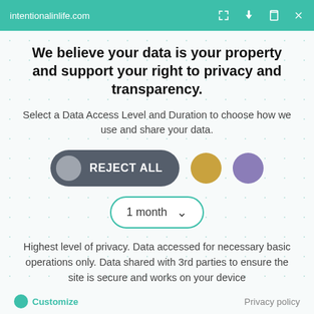intentionalinlife.com
We believe your data is your property and support your right to privacy and transparency.
Select a Data Access Level and Duration to choose how we use and share your data.
[Figure (infographic): Three data access level buttons: 'REJECT ALL' (dark grey pill with grey circle), a gold/yellow circle, and a purple circle. Below is a dropdown showing '1 month' with a chevron arrow.]
Highest level of privacy. Data accessed for necessary basic operations only. Data shared with 3rd parties to ensure the site is secure and works on your device
Save my preferences
Customize   Privacy policy